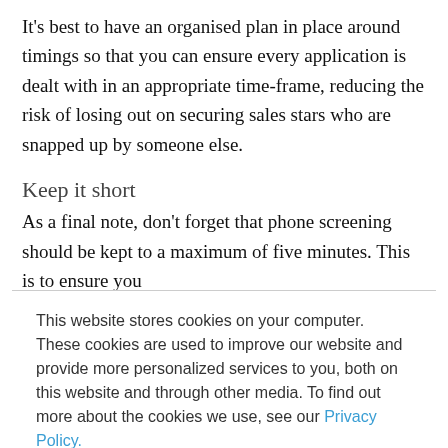It's best to have an organised plan in place around timings so that you can ensure every application is dealt with in an appropriate time-frame, reducing the risk of losing out on securing sales stars who are snapped up by someone else.
Keep it short
As a final note, don't forget that phone screening should be kept to a maximum of five minutes. This is to ensure you
This website stores cookies on your computer. These cookies are used to improve our website and provide more personalized services to you, both on this website and through other media. To find out more about the cookies we use, see our Privacy Policy.